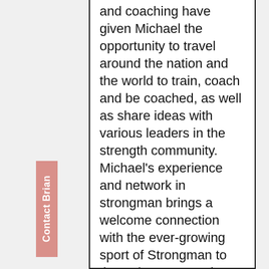and coaching have given Michael the opportunity to travel around the nation and the world to train, coach and be coached, as well as share ideas with various leaders in the strength community. Michael's experience and network in strongman brings a welcome connection with the ever-growing sport of Strongman to the 10/20 team and PRS family.